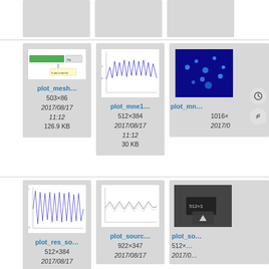[Figure (screenshot): Partial top row of three thumbnail cards, mostly cut off at top]
[Figure (screenshot): Thumbnail card for plot_mesh... showing a green progress bar screenshot, 503x86, 2017/08/17 11:12, 126.9 KB]
[Figure (screenshot): Thumbnail card for plot_mne1... showing a line chart, 512x384, 2017/08/17 11:12, 30 KB]
[Figure (screenshot): Thumbnail card for plot_mn... partially clipped on right, blue microscopy image, 1016x..., 2017/0...]
[Figure (screenshot): Thumbnail card for plot_res_so... showing oscillating line chart, 512x384, 2017/08/17]
[Figure (screenshot): Thumbnail card for plot_sourc... showing wavy line chart, 922x347, 2017/08/17]
[Figure (screenshot): Thumbnail card for plot_so... partially clipped on right, 512x..., 2017/0...]